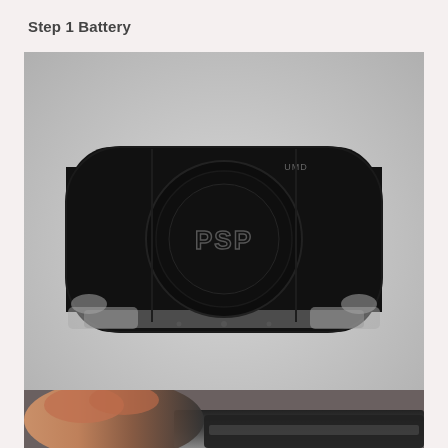Step 1 Battery
[Figure (photo): Top-down view of a black Sony PSP (PlayStation Portable) gaming console showing its back panel with the UMD label and circular PSP logo in the center, placed on a light gray surface.]
[Figure (photo): Close-up of a hand holding or manipulating the edge of a PSP console, showing fingers and the device's corner, partially visible at the bottom of the page.]